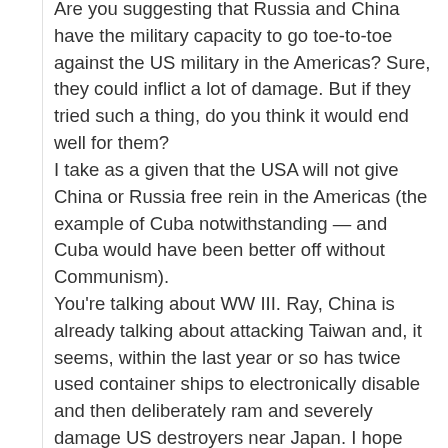Are you suggesting that Russia and China have the military capacity to go toe-to-toe against the US military in the Americas? Sure, they could inflict a lot of damage. But if they tried such a thing, do you think it would end well for them?
I take as a given that the USA will not give China or Russia free rein in the Americas (the example of Cuba notwithstanding — and Cuba would have been better off without Communism).
You're talking about WW III. Ray, China is already talking about attacking Taiwan and, it seems, within the last year or so has twice used container ships to electronically disable and then deliberately ram and severely damage US destroyers near Japan. I hope that their sense of scale and desire for self